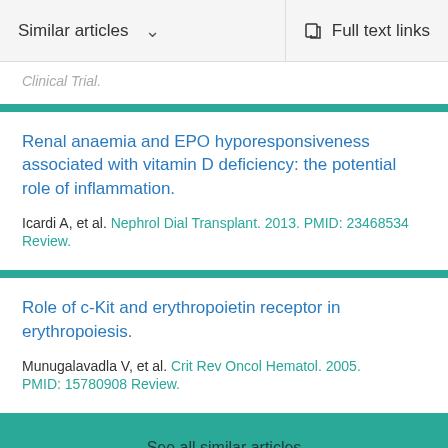Similar articles   Full text links
Clinical Trial.
Renal anaemia and EPO hyporesponsiveness associated with vitamin D deficiency: the potential role of inflammation.
Icardi A, et al. Nephrol Dial Transplant. 2013. PMID: 23468534 Review.
Role of c-Kit and erythropoietin receptor in erythropoiesis.
Munugalavadla V, et al. Crit Rev Oncol Hematol. 2005. PMID: 15780908 Review.
See all similar articles